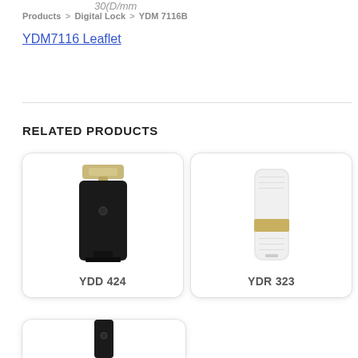30(D/mm
Products > Digital Lock > YDM 7116B
YDM7116 Leaflet
RELATED PRODUCTS
[Figure (photo): YDD 424 digital door lock product photo - black body with gold/champagne top bracket]
YDD 424
[Figure (photo): YDR 323 digital door lock product photo - slim white/silver body with gold accent band]
YDR 323
[Figure (photo): Partial view of another digital lock product card at bottom of page]